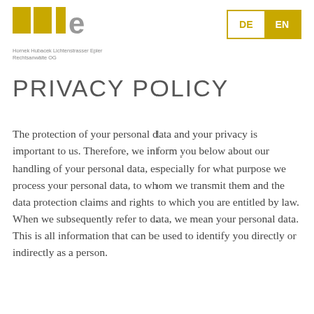[Figure (logo): hhle logo — Hornek Hubacek Lichtenstrasser Epler, Rechtsanwälte OG]
[Figure (other): Language switcher with DE and EN buttons, EN highlighted in gold]
PRIVACY POLICY
The protection of your personal data and your privacy is important to us. Therefore, we inform you below about our handling of your personal data, especially for what purpose we process your personal data, to whom we transmit them and the data protection claims and rights to which you are entitled by law. When we subsequently refer to data, we mean your personal data. This is all information that can be used to identify you directly or indirectly as a person.